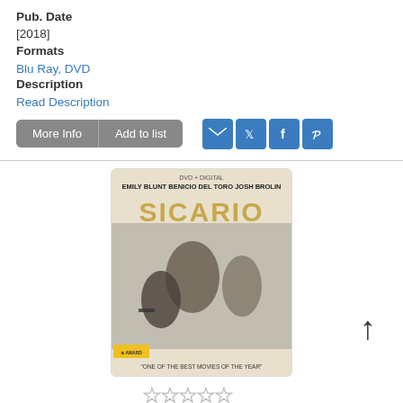Pub. Date
[2018]
Formats
Blu Ray, DVD
Description
Read Description
More Info  Add to list
[Figure (illustration): Sicario DVD cover with Emily Blunt, Benicio Del Toro, Josh Brolin]
5) Sicario